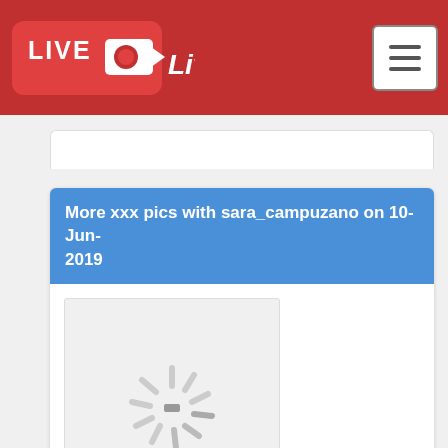Live-Camz
More xxx pics with sara_campuzano on 10-Jun-2019
[Figure (photo): Loading spinner image placeholder for sara_campuzano 10-Jun-2019]
More xxx pics with sara_campuzano on 11-Jun-2019
[Figure (photo): Loading spinner image placeholder for sara_campuzano 11-Jun-2019]